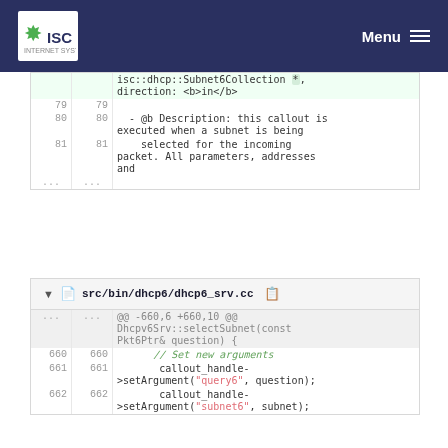ISC — Menu
| old | new | code |
| --- | --- | --- |
|  |  | isc::dhcp::Subnet6Collection *, direction: <b>in</b> |
| 79 | 79 |  |
| 80 | 80 | - @b Description: this callout is executed when a subnet is being |
| 81 | 81 | selected for the incoming packet. All parameters, addresses and |
| ... | ... |  |
| old | new | code |
| --- | --- | --- |
| ... | ... | @@ -660,6 +660,10 @@ Dhcpv6Srv::selectSubnet(const Pkt6Ptr& question) { |
| 660 | 660 | // Set new arguments |
| 661 | 661 | callout_handle->setArgument("query6", question); |
| 662 | 662 | callout_handle->setArgument("subnet6", subnet); |